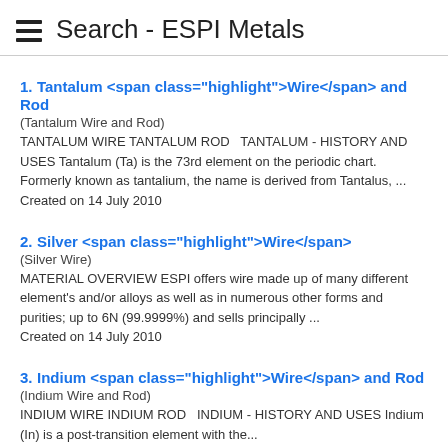Search - ESPI Metals
1. Tantalum <span class="highlight">Wire</span> and Rod
(Tantalum Wire and Rod)
TANTALUM WIRE TANTALUM ROD  TANTALUM - HISTORY AND USES Tantalum (Ta) is the 73rd element on the periodic chart. Formerly known as tantalium, the name is derived from Tantalus, ...
Created on 14 July 2010
2. Silver <span class="highlight">Wire</span>
(Silver Wire)
MATERIAL OVERVIEW ESPI offers wire made up of many different element's and/or alloys as well as in numerous other forms and purities; up to 6N (99.9999%) and sells principally ...
Created on 14 July 2010
3. Indium <span class="highlight">Wire</span> and Rod
(Indium Wire and Rod)
INDIUM WIRE INDIUM ROD  INDIUM - HISTORY AND USES Indium (In) is a post-transition element with the...